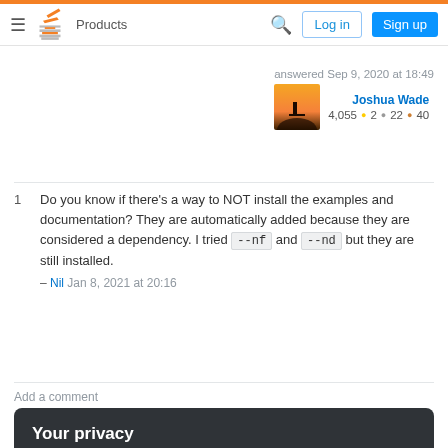≡  [StackOverflow logo]  Products  🔍  Log in  Sign up
answered Sep 9, 2020 at 18:49
Joshua Wade
4,055 ● 2 ● 22 ● 40
1  Do you know if there's a way to NOT install the examples and documentation? They are automatically added because they are considered a dependency. I tried --nf and --nd but they are still installed.
– Nil Jan 8, 2021 at 20:16
Add a comment
Your privacy
By clicking "Accept all cookies", you agree Stack Exchange can store cookies on your device and disclose information in accordance with our Cookie Policy.
Accept all cookies  Customize settings